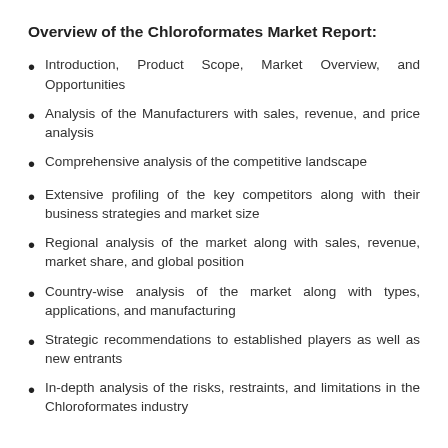Overview of the Chloroformates Market Report:
Introduction, Product Scope, Market Overview, and Opportunities
Analysis of the Manufacturers with sales, revenue, and price analysis
Comprehensive analysis of the competitive landscape
Extensive profiling of the key competitors along with their business strategies and market size
Regional analysis of the market along with sales, revenue, market share, and global position
Country-wise analysis of the market along with types, applications, and manufacturing
Strategic recommendations to established players as well as new entrants
In-depth analysis of the risks, restraints, and limitations in the Chloroformates industry